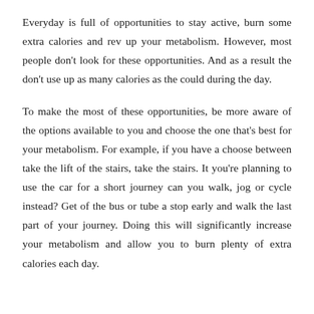Everyday is full of opportunities to stay active, burn some extra calories and rev up your metabolism. However, most people don't look for these opportunities. And as a result the don't use up as many calories as the could during the day.
To make the most of these opportunities, be more aware of the options available to you and choose the one that's best for your metabolism. For example, if you have a choose between take the lift of the stairs, take the stairs. It you're planning to use the car for a short journey can you walk, jog or cycle instead? Get of the bus or tube a stop early and walk the last part of your journey. Doing this will significantly increase your metabolism and allow you to burn plenty of extra calories each day.